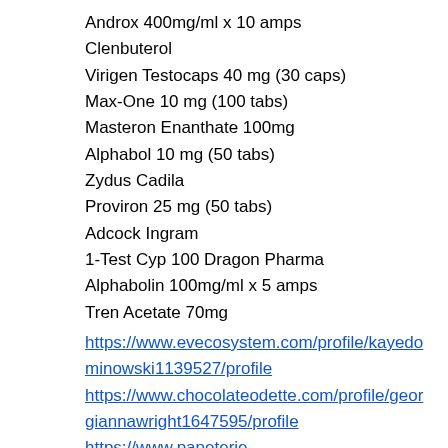Androx 400mg/ml x 10 amps
Clenbuterol
Virigen Testocaps 40 mg (30 caps)
Max-One 10 mg (100 tabs)
Masteron Enanthate 100mg
Alphabol 10 mg (50 tabs)
Zydus Cadila
Proviron 25 mg (50 tabs)
Adcock Ingram
1-Test Cyp 100 Dragon Pharma
Alphabolin 100mg/ml x 5 amps
Tren Acetate 70mg
https://www.evecosystem.com/profile/kayedominowski1139527/profile https://www.chocolateodette.com/profile/georgiannawright1647595/profile https://www.papeterie-...